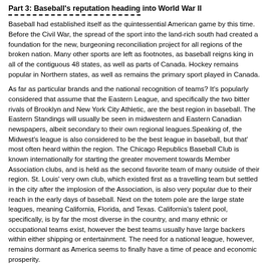Part 3: Baseball's reputation heading into World War II
Baseball had established itself as the quintessential American game by this time. Before the Civil War, the spread of the sport into the land-rich south had created a foundation for the new, burgeoning reconciliation project for all regions of the broken nation. Many other sports are left as footnotes, as baseball reigns king in all of the contiguous 48 states, as well as parts of Canada. Hockey remains popular in Northern states, as well as remains the primary sport played in Canada.
As far as particular brands and the national recognition of teams? It's popularly considered that assume that the Eastern League, and specifically the two bitter rivals of Brooklyn and New York City Athletic, are the best region in baseball. The Eastern Standings will usually be seen in midwestern and Eastern Canadian newspapers, albeit secondary to their own regional leagues.Speaking of, the Midwest's league is also considered to be the best league in baseball, but that' most often heard within the region. The Chicago Republics Baseball Club is known internationally for starting the greater movement towards Member Association clubs, and is held as the second favorite team of many outside of their region. St. Louis' very own club, which existed first as a travelling team but settled in the city after the implosion of the Association, is also very popular due to their reach in the early days of baseball. Next on the totem pole are the large state leagues, meaning California, Florida, and Texas. California's talent pool, specifically, is by far the most diverse in the country, and many ethnic or occupational teams exist, however the best teams usually have large backers within either shipping or entertainment. The need for a national league, however, remains dormant as America seems to finally have a time of peace and economic prosperity.